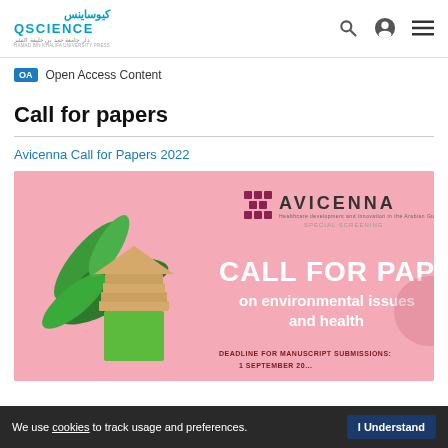QSCIENCE — QScience logo with Arabic text: كيوساينس / دار جامعة حمد بن خليفة النشر
OA  Open Access Content
Call for papers
Avicenna Call for Papers 2022
[Figure (illustration): Pink background banner for Avicenna journal Call for Papers on environmental issues and health. Shows AVICENNA logo top right, a stylized house made of stacked paper with green leaves, and white bold text reading CALL FOR PAPERS on environmental issues and health. Bottom text: DEADLINE FOR MANUSCRIPT SUBMISSIONS: 1 SEPTEMBER 20...]
We use cookies to track usage and preferences.  I Understand